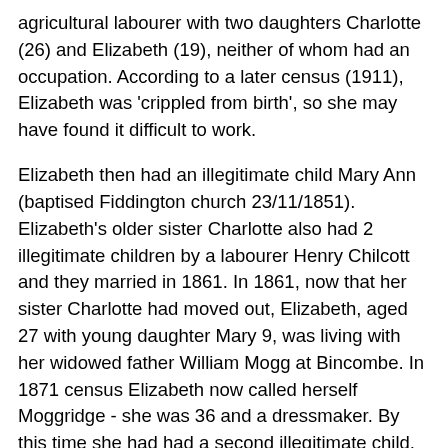agricultural labourer with two daughters Charlotte (26) and Elizabeth (19), neither of whom had an occupation. According to a later census (1911), Elizabeth was 'crippled from birth', so she may have found it difficult to work.
Elizabeth then had an illegitimate child Mary Ann (baptised Fiddington church 23/11/1851). Elizabeth's older sister Charlotte also had 2 illegitimate children by a labourer Henry Chilcott and they married in 1861. In 1861, now that her sister Charlotte had moved out, Elizabeth, aged 27 with young daughter Mary 9, was living with her widowed father William Mogg at Bincombe. In 1871 census Elizabeth now called herself Moggridge - she was 36 and a dressmaker. By this time she had had a second illegitimate child, a son William (age 7 in the census). She later told Sharp that she had indeed had 2 children out of wedlock. In 1881 Elizabeth reverted to the name Mogg and she was still a dressmaker and William was 17, an agricultural labourer. They were